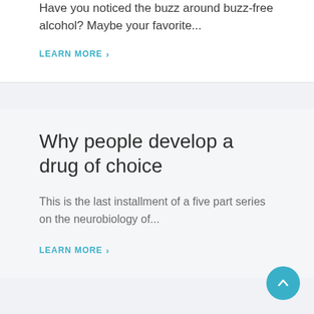Have you noticed the buzz around buzz-free alcohol? Maybe your favorite...
LEARN MORE >
Why people develop a drug of choice
This is the last installment of a five part series on the neurobiology of...
LEARN MORE >